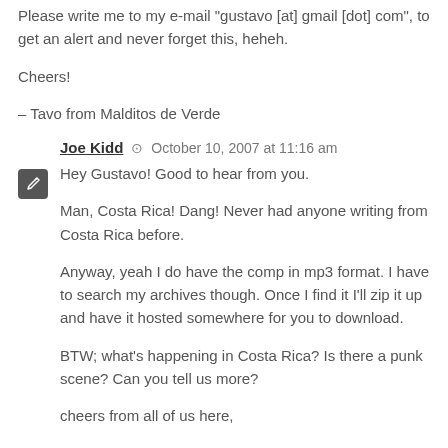Please write me to my e-mail "gustavo [at] gmail [dot] com", to get an alert and never forget this, heheh.
Cheers!
– Tavo from Malditos de Verde
Joe Kidd  ⊙  October 10, 2007 at 11:16 am
Hey Gustavo! Good to hear from you.
Man, Costa Rica! Dang! Never had anyone writing from Costa Rica before.
Anyway, yeah I do have the comp in mp3 format. I have to search my archives though. Once I find it I'll zip it up and have it hosted somewhere for you to download.
BTW; what's happening in Costa Rica? Is there a punk scene? Can you tell us more?
cheers from all of us here,